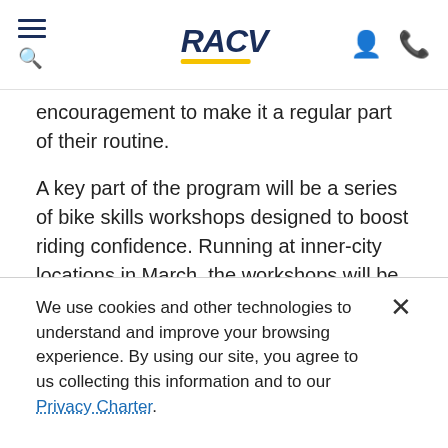RACV
encouragement to make it a regular part of their routine.
A key part of the program will be a series of bike skills workshops designed to boost riding confidence. Running at inner-city locations in March, the workshops will be hosted by experts from social enterprise bike shop Good Cycles. We asked their lead trainer, Donovan Roberts, to share his tips for building confidence on your bike.
We use cookies and other technologies to understand and improve your browsing experience. By using our site, you agree to us collecting this information and to our Privacy Charter.